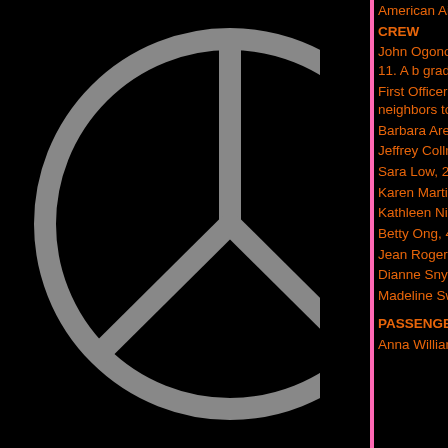[Figure (illustration): Partial peace symbol graphic in gray on black background, left side of page]
American Airlines Flight 11, from Boston, crashed into the north tower of the World
CREW
John Ogonowski, 52, of Dracut, Massachusetts. 150-acre farm north of Boston. He is survived by Laura, 16; Caroline, 14; and Mary, 11. A b graduating from college and flew planes a American Airlines in 1979.
First Officer Thomas McGuinness, 42, of 11′s co-pilot. He is survived by his old daughter. He was active in Bethany C neighbors told The Boston Globe. Rick D "a devoted family man."
Barbara Arestegui, 38, was a flight attendant.
Jeffrey Collman was a flight attendant.
Sara Low, 28, was a flight attendant from
Karen Martin was a flight attendant.
Kathleen Nicosia was a flight attendant.
Betty Ong, 45, was a flight attendant from
Jean Roger, 24, was a flight attendant from
Dianne Snyder, 42, was a flight attendant
Madeline Sweeney, 35, was a flight attendant
PASSENGERS
Anna Williams Allison, 48, of Stoneham